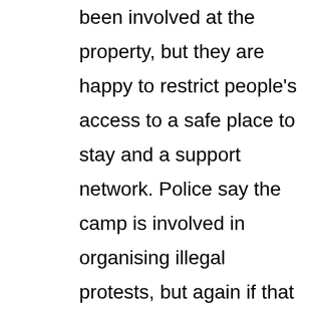been involved at the property, but they are happy to restrict people's access to a safe place to stay and a support network. Police say the camp is involved in organising illegal protests, but again if that is the case police have the power to gather evidence and arrest people who are breaking the law. That is literally their job and the reason we have laws.

Indeed if the property is such a threat, then people shouldn't be allowed to go